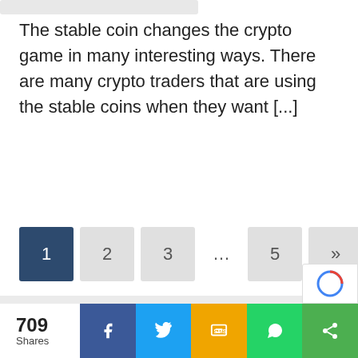The stable coin changes the crypto game in many interesting ways. There are many crypto traders that are using the stable coins when they want [...]
Continue reading »
1  2  3  ...  5  »
Search ...
709 Shares